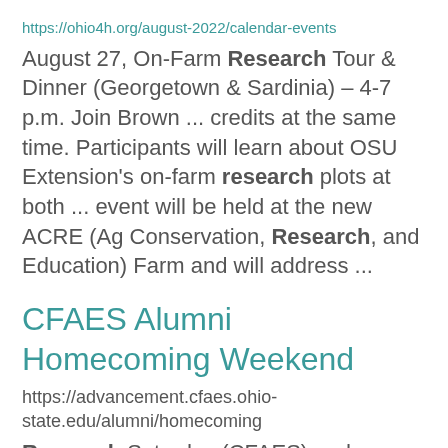https://ohio4h.org/august-2022/calendar-events
August 27, On-Farm Research Tour & Dinner (Georgetown & Sardinia) – 4-7 p.m. Join Brown ... credits at the same time. Participants will learn about OSU Extension's on-farm research plots at both ... event will be held at the new ACRE (Ag Conservation, Research, and Education) Farm and will address ...
CFAES Alumni Homecoming Weekend
https://advancement.cfaes.ohio-state.edu/alumni/homecoming
Research Saturday (CFAES) and ...